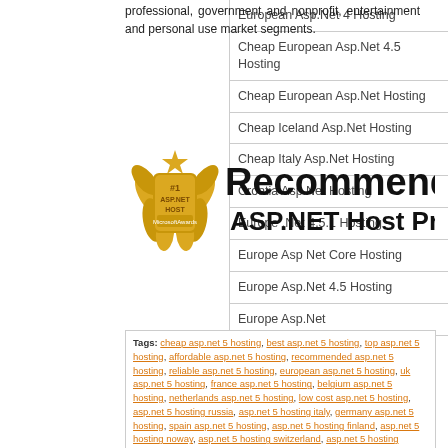professional, government and nonprofit, entertainment and personal use market segments.
[Figure (logo): #1 ASP.NET HOST Microsoft Awards badge with text 'Recommended ASP.NET Host Provider']
Tags: heap asp.net 5 hosting, best asp.net 5 hosting, top asp.net 5 hosting, affordable asp.net 5 hosting, recommended asp.net 5 hosting, reliable asp.net 5 hosting, european asp.net 5 hosting, uk asp.net 5 hosting, france asp.net 5 hosting, belgium asp.net 5 hosting, netherlands asp.net 5 hosting, low cost asp.net 5 hosting, asp.net 5 hosting russia, asp.net 5 hosting italy, germany asp.net 5 hosting, spain asp.net 5 hosting, asp.net 5 hosting finland, asp.net 5 hosting noway, asp.net 5 hosting switzerland, asp.net 5 hosting austria, asp.net 5 hosting denmark, asp.net 5 hosting israel, asp.net 5 hosting india, asp.net 5 hosting pakistan, asp.net 5 hosting egypt, asp.net 5 hosting sout africa, asp.net 5 hosting turkey, asp.net 5 hosting united arab emiratesm, asp.net 5 hosting iran, asp.net 5 hosting iraq, asp.net 5 hosting estonia, asp.net 5 hosting luxembourg, asp.net 5 hosting greece, asp.net 5 hosting portugal, asp.net 5 hosting czech, asp.net 5 hosting poland, asp.net 5 hosting brazil, asp.net 5 hosting paris, asp.net 5 hosting slovenia, asp.net 5 hosting latvia, asp.net 5 hosting ukraine, asp.net 5 hosting romania, asp.net 5 hosting serbia
Categories:
European Asp.Net 4 Hosting
Cheap European Asp.Net 4.5 Hosting
Cheap European Asp.Net Hosting
Cheap Iceland Asp.Net Hosting
Cheap Italy Asp.Net Hosting
Croatia Asp.Net Hosting
Europe .Net 4.5.1 Hosting
Europe Asp Net Core Hosting
Europe Asp.Net 4.5 Hosting
Europe Asp.Net